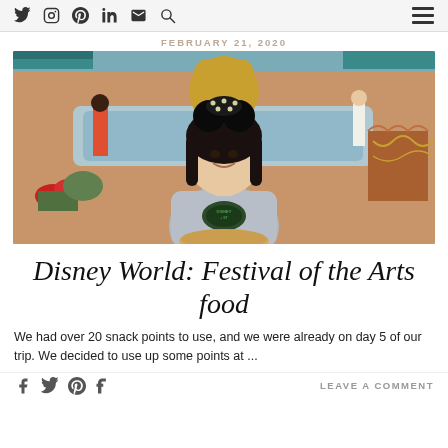Social icons: Twitter, Instagram, Pinterest, LinkedIn, Email, Search | Hamburger menu
FEBRUARY 21, 2020
[Figure (photo): Woman smiling at camera wearing Minnie Mouse ears and a Disney t-shirt, holding bread, seated in front of a fountain at Disney World. Other park visitors visible in background.]
Disney World: Festival of the Arts food
We had over 20 snack points to use, and we were already on day 5 of our trip. We decided to use up some points at ...